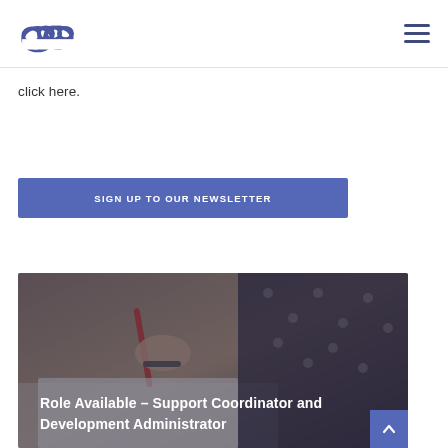Cloud logo and hamburger menu navigation
click here.
[Figure (other): Blue button: SIGN UP TO OUR NEWSLETTER]
[Figure (photo): Photo of a person writing with a red pen on paper, with overlay text: Role Available – Support Coordinator and Development Administrator]
Role Available – Support Coordinator and Development Administrator